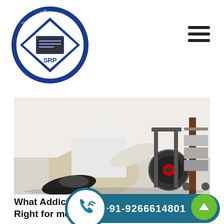[Figure (logo): Circular logo with text 'The Place To Find Hope & Peace' and stylized 'SRP' emblem in blue and white]
[Figure (photo): Person in white clothing crouching next to exercise/rehabilitation equipment in a gym or therapy room setting]
What Addiction Rehab is Right for me?
+91-9266614801
Read More